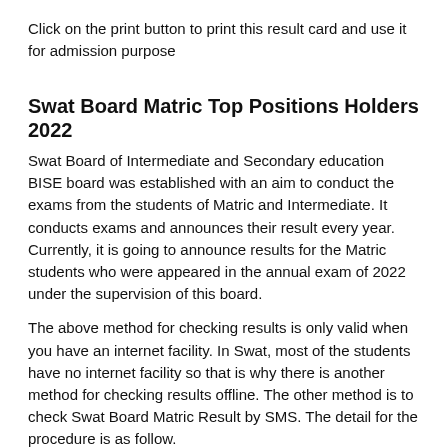Click on the print button to print this result card and use it for admission purpose
Swat Board Matric Top Positions Holders 2022
Swat Board of Intermediate and Secondary education BISE board was established with an aim to conduct the exams from the students of Matric and Intermediate. It conducts exams and announces their result every year. Currently, it is going to announce results for the Matric students who were appeared in the annual exam of 2022 under the supervision of this board.
The above method for checking results is only valid when you have an internet facility. In Swat, most of the students have no internet facility so that is why there is another method for checking results offline. The other method is to check Swat Board Matric Result by SMS. The detail for the procedure is as follow.